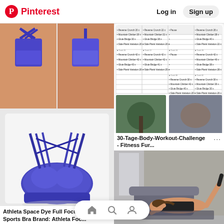Pinterest  Log in  Sign up
[Figure (photo): Two views of a blue/purple athletic sports bra with cross-back straps (Athleta), worn by a woman]
[Figure (photo): Blue/purple Athleta space dye sports bra with multiple strappy cross-back details, laid flat on white background]
Athleta Space Dye Full Focus Sports Bra Brand: Athleta Foc...
[Figure (screenshot): Workout challenge chart listing exercises: Reverse Crunch, Mountain Climber, Glute Bridge, Side Plank Variation, with two exercise photos below]
30-Tage-Body-Workout-Challenge - Fitness Fur...
[Figure (photo): Woman doing a leg raise/core exercise on the floor in a living room setting]